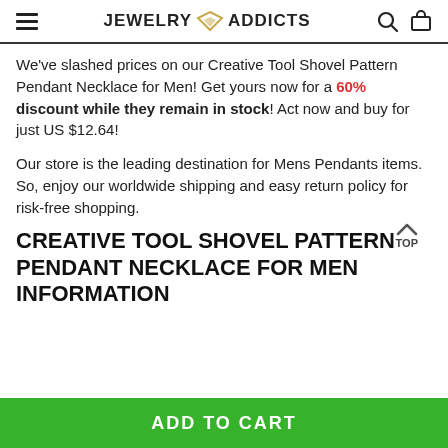JEWELRY ADDICTS
We've slashed prices on our Creative Tool Shovel Pattern Pendant Necklace for Men! Get yours now for a 60% discount while they remain in stock! Act now and buy for just US $12.64!
Our store is the leading destination for Mens Pendants items. So, enjoy our worldwide shipping and easy return policy for risk-free shopping.
CREATIVE TOOL SHOVEL PATTERN PENDANT NECKLACE FOR MEN INFORMATION
ADD TO CART